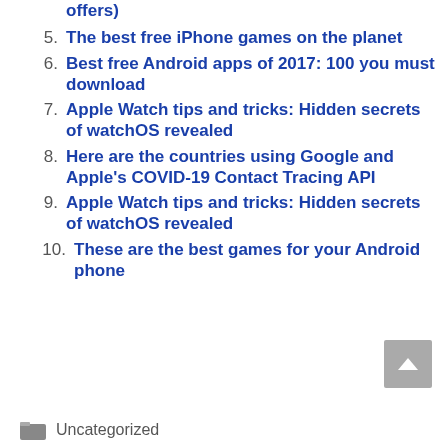offers)
5. The best free iPhone games on the planet
6. Best free Android apps of 2017: 100 you must download
7. Apple Watch tips and tricks: Hidden secrets of watchOS revealed
8. Here are the countries using Google and Apple's COVID-19 Contact Tracing API
9. Apple Watch tips and tricks: Hidden secrets of watchOS revealed
10. These are the best games for your Android phone
Uncategorized